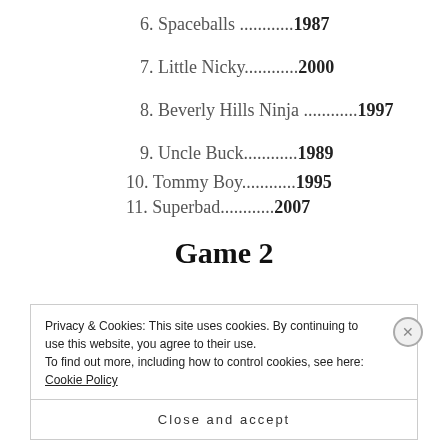6. Spaceballs ...........1987
7. Little Nicky...........2000
8. Beverly Hills Ninja ...........1997
9. Uncle Buck...........1989
10. Tommy Boy...........1995
11. Superbad...........2007
Game 2
Privacy & Cookies: This site uses cookies. By continuing to use this website, you agree to their use.
To find out more, including how to control cookies, see here: Cookie Policy
Close and accept